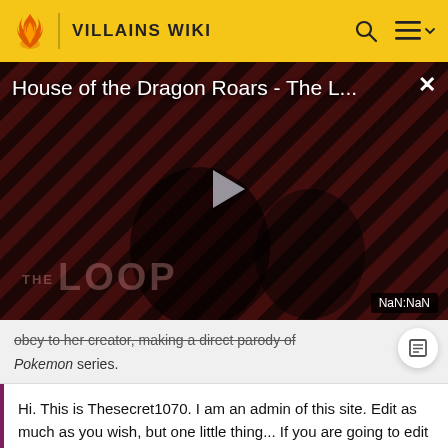VILLAINS WIKI
[Figure (screenshot): Video player showing 'House of the Dragon Roars - The L...' with play button, diagonal striped background, THE LOOP logo, and NaN:NaN timestamp badge]
obey to her creator, making a direct parody of Pokemon series.
Hi. This is Thesecret1070. I am an admin of this site. Edit as much as you wish, but one little thing... If you are going to edit a lot, then make yourself a user and login. Other than that, enjoy Villains Wiki!!!